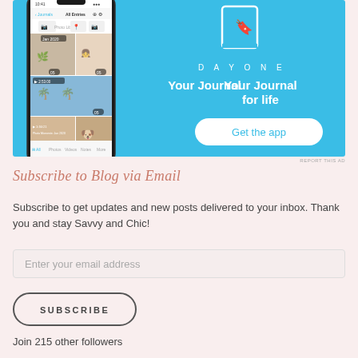[Figure (screenshot): DayOne journal app advertisement showing a phone mockup with the app interface on the left and blue background with 'DAYONE' logo, 'Your Journal for life' tagline, and 'Get the app' button on the right]
REPORT THIS AD
Subscribe to Blog via Email
Subscribe to get updates and new posts delivered to your inbox. Thank you and stay Savvy and Chic!
Enter your email address
SUBSCRIBE
Join 215 other followers